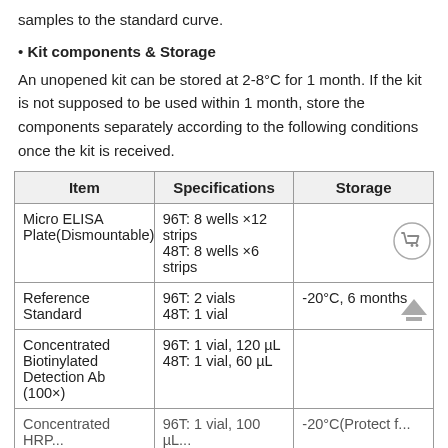samples to the standard curve.
• Kit components & Storage
An unopened kit can be stored at 2-8°C for 1 month. If the kit is not supposed to be used within 1 month, store the components separately according to the following conditions once the kit is received.
| Item | Specifications | Storage |
| --- | --- | --- |
| Micro ELISA Plate(Dismountable) | 96T: 8 wells ×12 strips
48T: 8 wells ×6 strips |  |
| Reference Standard | 96T: 2 vials
48T: 1 vial | -20°C, 6 months |
| Concentrated Biotinylated Detection Ab (100×) | 96T: 1 vial, 120 µL
48T: 1 vial, 60 µL |  |
| Concentrated HRP... | 96T: 1 vial, 100 µL... | -20°C (Protect f... |